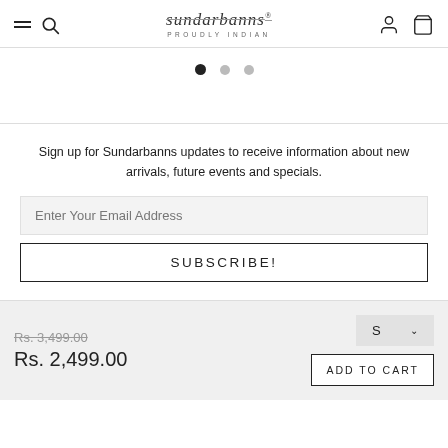Sundarbanns — PROUDLY INDIAN (with navigation icons)
[Figure (other): Carousel pagination dots: 3 dots, first one filled/active, two grey]
Sign up for Sundarbanns updates to receive information about new arrivals, future events and specials.
Enter Your Email Address
SUBSCRIBE!
Rs. 3,499.00
Rs. 2,499.00
S
ADD TO CART